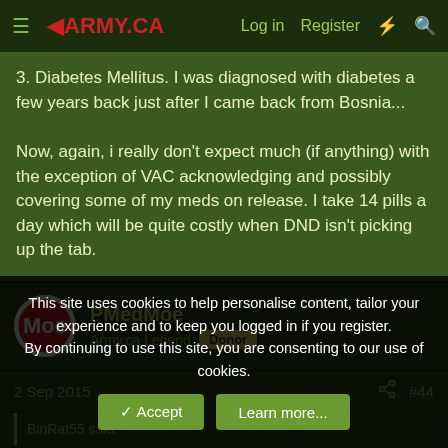ARMY.CA — Log in  Register
3. Diabetes Mellitus. I was diagnosed with diabetes a few years back just after I came back from Bosnia...

Now, again, i really don't expect much (if anything) with the exception of VAC acknowledging and possibly covering some of my meds on release. I take 14 pills a day which will be quite costly when DND isn't picking up the tab.
PMedMoe
Army.ca Legend  Donor
2 Sep 2015  #44
BinRat55 said:
This site uses cookies to help personalise content, tailor your experience and to keep you logged in if you register.
By continuing to use this site, you are consenting to our use of cookies.